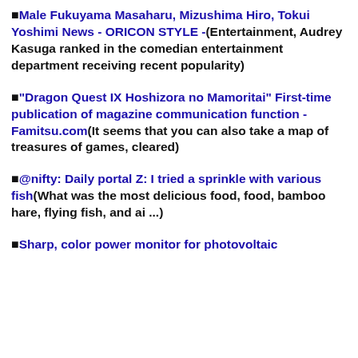■Male Fukuyama Masaharu, Mizushima Hiro, Tokui Yoshimi News - ORICON STYLE -(Entertainment, Audrey Kasuga ranked in the comedian entertainment department receiving recent popularity)
■"Dragon Quest IX Hoshizora no Mamoritai" First-time publication of magazine communication function - Famitsu.com(It seems that you can also take a map of treasures of games, cleared)
■@nifty: Daily portal Z: I tried a sprinkle with various fish(What was the most delicious food, food, bamboo hare, flying fish, and ai ...)
■Sharp, color power monitor for photovoltaic